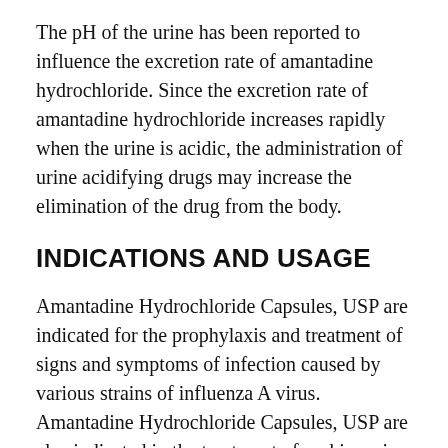The pH of the urine has been reported to influence the excretion rate of amantadine hydrochloride. Since the excretion rate of amantadine hydrochloride increases rapidly when the urine is acidic, the administration of urine acidifying drugs may increase the elimination of the drug from the body.
INDICATIONS AND USAGE
Amantadine Hydrochloride Capsules, USP are indicated for the prophylaxis and treatment of signs and symptoms of infection caused by various strains of influenza A virus. Amantadine Hydrochloride Capsules, USP are also indicated in the treatment of parkinsonism and drug-